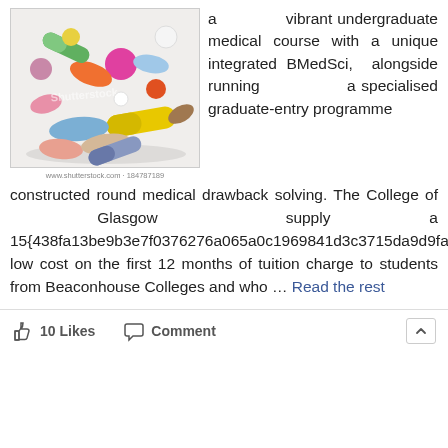[Figure (photo): A pile of colorful assorted pills, tablets and capsules photographed against a white background. Shutterstock watermark visible.]
www.shutterstock.com · 184787189
a vibrant undergraduate medical course with a unique integrated BMedSci, alongside running a specialised graduate-entry programme constructed round medical drawback solving. The College of Glasgow supply a 15{438fa13be9b3e7f0376276a065a0c1969841d3c3715da9d9faa374e14cc72fab} low cost on the first 12 months of tuition charge to students from Beaconhouse Colleges and who … Read the rest
10 Likes   Comment